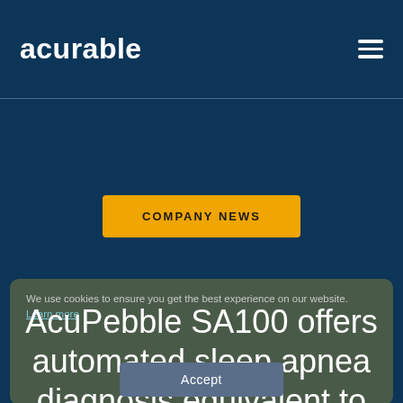acurable
COMPANY NEWS
We use cookies to ensure you get the best experience on our website. Learn more
AcuPebble SA100 offers automated sleep apnea diagnosis equivalent to
Accept